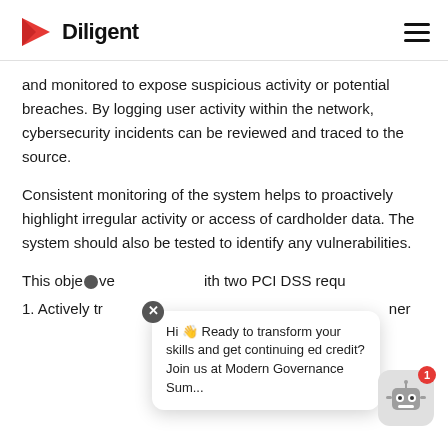Diligent
and monitored to expose suspicious activity or potential breaches. By logging user activity within the network, cybersecurity incidents can be reviewed and traced to the source.
Consistent monitoring of the system helps to proactively highlight irregular activity or access of cardholder data. The system should also be tested to identify any vulnerabilities.
This objective aligns with two PCI DSS requirements:
1. Actively track and monitor all network resources